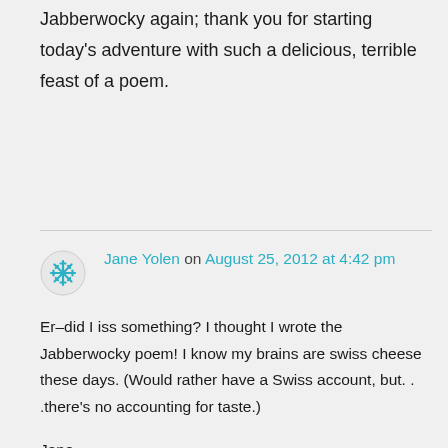Jabberwocky again; thank you for starting today's adventure with such a delicious, terrible feast of a poem.
Jane Yolen on August 25, 2012 at 4:42 pm
Er–did I iss something? I thought I wrote the Jabberwocky poem! I know my brains are swiss cheese these days. (Would rather have a Swiss account, but. . .there's no accounting for taste.)

Jane